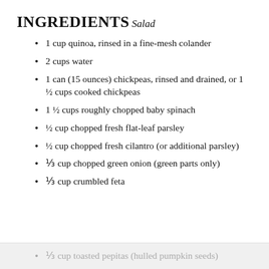INGREDIENTS
Salad
1 cup quinoa, rinsed in a fine-mesh colander
2 cups water
1 can (15 ounces) chickpeas, rinsed and drained, or 1 ½ cups cooked chickpeas
1 ½ cups roughly chopped baby spinach
½ cup chopped fresh flat-leaf parsley
½ cup chopped fresh cilantro (or additional parsley)
⅓ cup chopped green onion (green parts only)
⅓ cup crumbled feta
⅓ cup toasted pepitas (hulled pumpkin seeds)